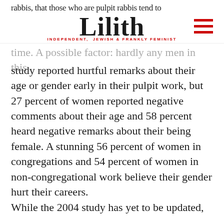rabbis, that those who are pulpit rabbis tend to
Lilith — INDEPENDENT, JEWISH & FRANKLY FEMINIST
time. A possible factor: hardly any men in this study reported hurtful remarks about their age or gender early in their pulpit work, but 27 percent of women reported negative comments about their age and 58 percent heard negative remarks about their being female. A stunning 56 percent of women in congregations and 54 percent of women in non-congregational work believe their gender hurt their careers.
While the 2004 study has yet to be updated,